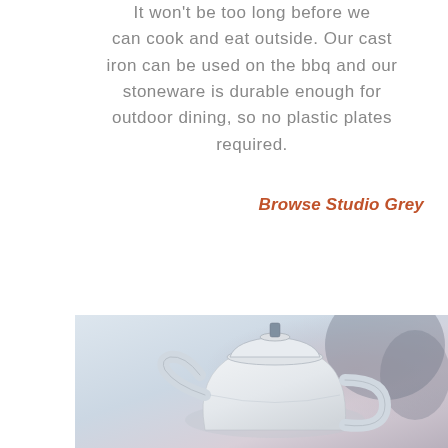It won't be too long before we can cook and eat outside. Our cast iron can be used on the bbq and our stoneware is durable enough for outdoor dining, so no plastic plates required.
Browse Studio Grey
[Figure (photo): Close-up photograph of a white ceramic teapot or French press with a lid and metal knob handle, on a light grey-blue background with soft focus.]